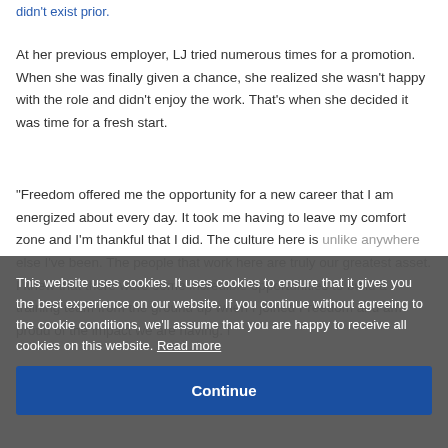didn't exist prior.
At her previous employer, LJ tried numerous times for a promotion. When she was finally given a chance, she realized she wasn't happy with the role and didn't enjoy the work. That's when she decided it was time for a fresh start.
“Freedom offered me the opportunity for a new career that I am energized about every day. It took me having to leave my comfort zone and I'm thankful that I did. The culture here is unlike anywhere else I've been. The people that work here are truly our greatest asset. I knew that there were some incredible opportunities to build a training team from the ground up when I joined Freedom and am proud of the impact we are having. I couldn't be more excited about what we'll accomplish here with...
This website uses cookies. It uses cookies to ensure that it gives you the best experience on our website. If you continue without agreeing to the cookie conditions, we'll assume that you are happy to receive all cookies on this website. Read more
Continue